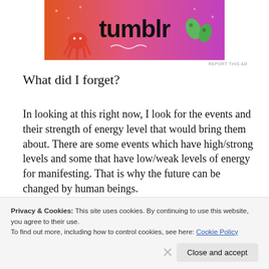[Figure (illustration): Tumblr advertisement banner with colorful orange-to-purple gradient background featuring cartoon octopus, sun, leaves, and the word 'tumblr' in bold black text]
REPORT THIS AD
What did I forget?
In looking at this right now, I look for the events and their strength of energy level that would bring them about. There are some events which have high/strong levels and some that have low/weak levels of energy for manifesting. That is why the future can be changed by human beings.
Privacy & Cookies: This site uses cookies. By continuing to use this website, you agree to their use.
To find out more, including how to control cookies, see here: Cookie Policy
Close and accept